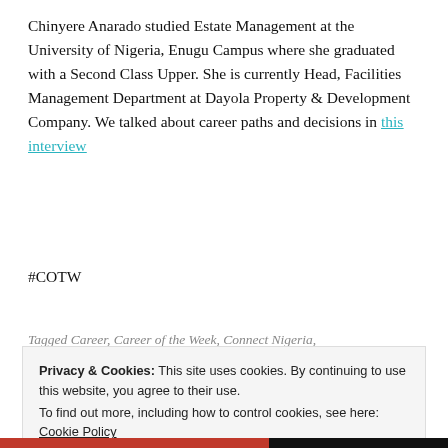Chinyere Anarado studied Estate Management at the University of Nigeria, Enugu Campus where she graduated with a Second Class Upper. She is currently Head, Facilities Management Department at Dayola Property & Development Company. We talked about career paths and decisions in this interview
#COTW
Tagged Career, Career of the Week, Connect Nigeria, Estate Management, Facility Management, Facility...
Privacy & Cookies: This site uses cookies. By continuing to use this website, you agree to their use. To find out more, including how to control cookies, see here: Cookie Policy